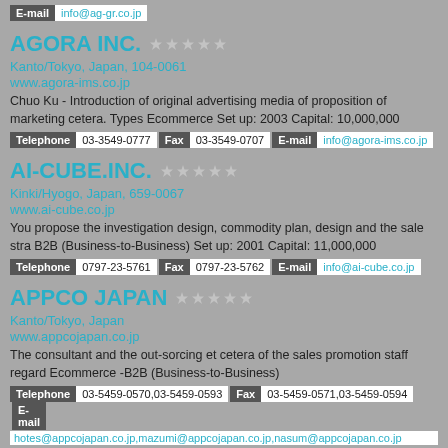E-mail  info@ag-gr.co.jp
AGORA INC.
Kanto/Tokyo, Japan, 104-0061
www.agora-ims.co.jp
Chuo Ku - Introduction of original advertising media of proposition of marketing cetera. Types Ecommerce Set up: 2003 Capital: 10,000,000
Telephone 03-3549-0777  Fax 03-3549-0707  E-mail info@agora-ims.co.jp
AI-CUBE.INC.
Kinki/Hyogo, Japan, 659-0067
www.ai-cube.co.jp
You propose the investigation design, commodity plan, design and the sale stra B2B (Business-to-Business) Set up: 2001 Capital: 11,000,000
Telephone 0797-23-5761  Fax 0797-23-5762  E-mail info@ai-cube.co.jp
APPCO JAPAN
Kanto/Tokyo, Japan
www.appcojapan.co.jp
The consultant and the out-sorcing et cetera of the sales promotion staff regard Ecommerce -B2B (Business-to-Business)
Telephone 03-5459-0570,03-5459-0593  Fax 03-5459-0571,03-5459-0594  E-mail hotes@appcojapan.co.jp,mazumi@appcojapan.co.jp,nasum@appcojapan.co.jp